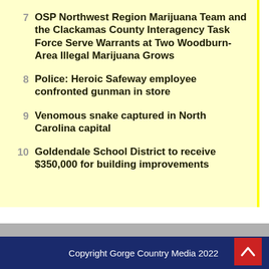7. OSP Northwest Region Marijuana Team and the Clackamas County Interagency Task Force Serve Warrants at Two Woodburn-Area Illegal Marijuana Grows
8. Police: Heroic Safeway employee confronted gunman in store
9. Venomous snake captured in North Carolina capital
10. Goldendale School District to receive $350,000 for building improvements
Copyright Gorge Country Media 2022